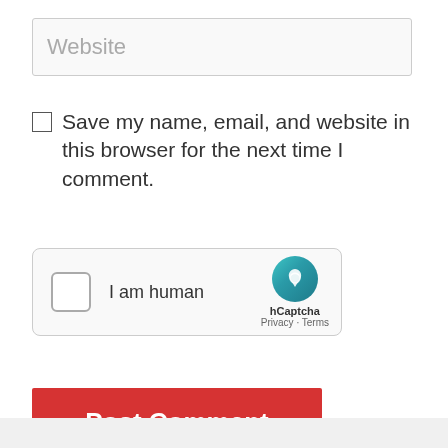Website
Save my name, email, and website in this browser for the next time I comment.
[Figure (screenshot): hCaptcha widget with checkbox, 'I am human' text, and hCaptcha logo with Privacy and Terms links]
Post Comment